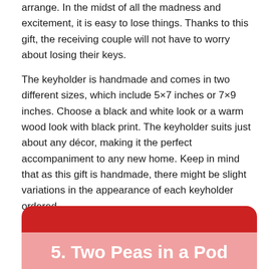arrange. In the midst of all the madness and excitement, it is easy to lose things. Thanks to this gift, the receiving couple will not have to worry about losing their keys.
The keyholder is handmade and comes in two different sizes, which include 5×7 inches or 7×9 inches. Choose a black and white look or a warm wood look with black print. The keyholder suits just about any décor, making it the perfect accompaniment to any new home. Keep in mind that as this gift is handmade, there might be slight variations in the appearance of each keyholder ordered.
5. Two Peas in a Pod